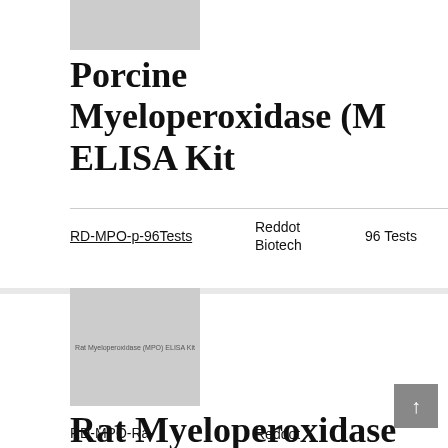[Figure (photo): Gray placeholder image at top for Porcine Myeloperoxidase ELISA Kit product]
Porcine Myeloperoxidase (M... ELISA Kit
| Product Code | Manufacturer | Size |
| --- | --- | --- |
| RD-MPO-p-96Tests | Reddot Biotech | 96 Tests |
[Figure (photo): Gray placeholder image for Rat Myeloperoxidase (MPO) ELISA Kit product with small text overlay]
Rat Myeloperoxidase (MPO... Kit
RD-MPO-Ra-
Reddot